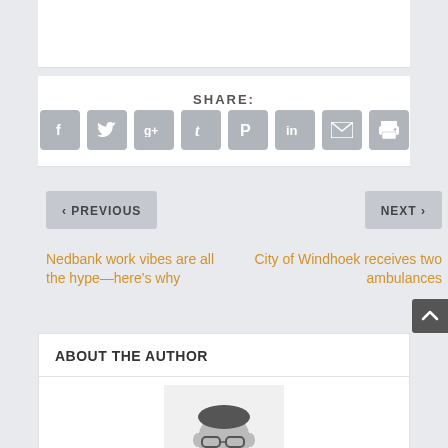SHARE:
[Figure (infographic): Row of 8 social sharing icon buttons: Facebook, Twitter, Google+, Tumblr, Pinterest, LinkedIn, Email, Print — all with grey rounded-square backgrounds and white icons]
< PREVIOUS
NEXT >
Nedbank work vibes are all the hype—here's why
City of Windhoek receives two ambulances
ABOUT THE AUTHOR
[Figure (photo): Black and white photo of a man wearing glasses, smiling, cropped at bottom of page]